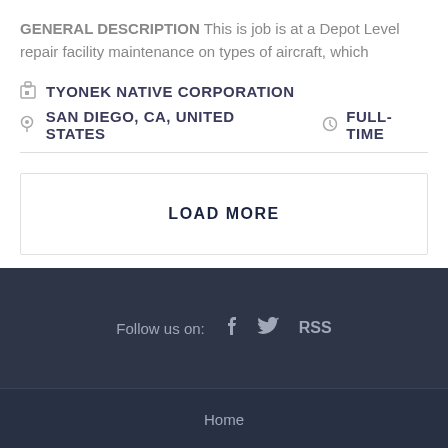GENERAL DESCRIPTION This is job is at a Depot Level repair facility maintenance on types of aircraft, which
TYONEK NATIVE CORPORATION
SAN DIEGO, CA, UNITED STATES   FULL-TIME
LOAD MORE
Follow us on:   f   RSS
Home